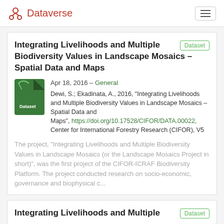Dataverse
Integrating Livelihoods and Multiple Biodiversity Values in Landscape Mosaics – Spatial Data and Maps
Apr 18, 2016 – General
Dewi, S.; Ekadinata, A., 2016, "Integrating Livelihoods and Multiple Biodiversity Values in Landscape Mosaics – Spatial Data and Maps", https://doi.org/10.17528/CIFOR/DATA.00022, Center for International Forestry Research (CIFOR), V5
The project, "Integrating Livelihoods and Multiple Biodiversity Values in Landscape Mosaics (or the Landscape Mosaics Project in short)", was the first project of the CIFOR-ICRAF Biodiversity Platform. The project conducted research on socio-economic, governance and biophysical c...
Integrating Livelihoods and Multiple